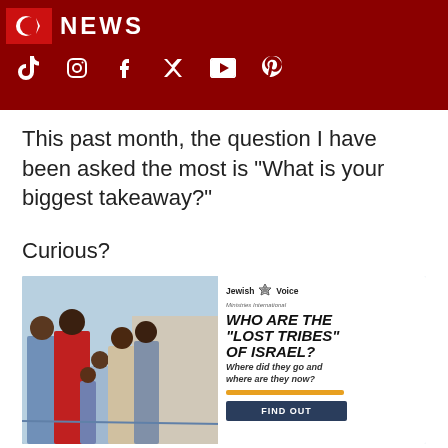NEWS
This past month, the question I have been asked the most is "What is your biggest takeaway?"
Curious?
[Figure (infographic): Jewish Voice Ministries advertisement: 'Who Are the Lost Tribes of Israel? Where did they go and where are they now?' with photo of African children and a Find Out button.]